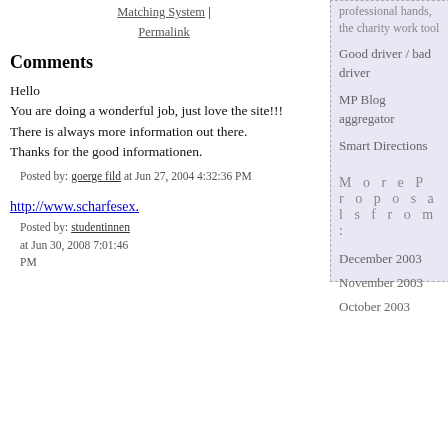Matching System | Permalink
Comments
Hello
You are doing a wonderful job, just love the site!!!
There is always more information out there.
Thanks for the good informationen.
Posted by: goerge fild at Jun 27, 2004 4:32:36 PM
http://www.scharfesex.
Posted by: studentinnen at Jun 30, 2008 7:01:46 PM
professional hands, the charity work tool
Good driver / bad driver
MP Blog aggregator
Smart Directions
More Proposals from:
December 2003
November 2003
October 2003